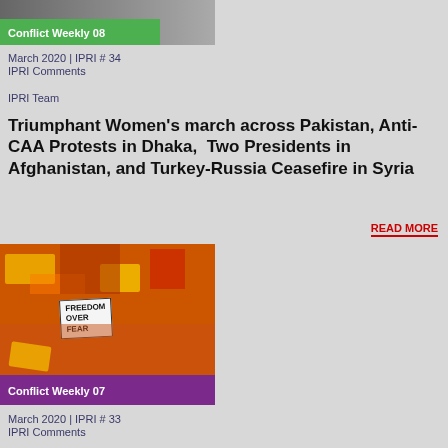[Figure (photo): Conflict Weekly 08 banner image with green label overlay]
March 2020 | IPRI # 34
IPRI Comments
IPRI Team
Triumphant Women's march across Pakistan, Anti-CAA Protests in Dhaka,  Two Presidents in Afghanistan, and Turkey-Russia Ceasefire in Syria
READ MORE
[Figure (photo): Photo of women's march with orange clothing and signs including 'Freedom Over Fear', with purple Conflict Weekly 07 label overlay]
March 2020 | IPRI # 33
IPRI Comments